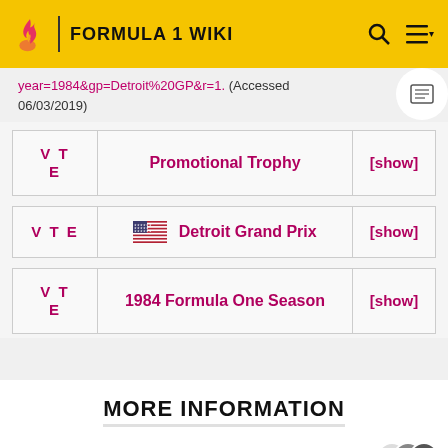FORMULA 1 WIKI
year=1984&gp=Detroit%20GP&r=1. (Accessed 06/03/2019)
| V T E | Promotional Trophy | [show] |
| --- | --- | --- |
| V T E | Detroit Grand Prix | [show] |
| --- | --- | --- |
| V T E | 1984 Formula One Season | [show] |
| --- | --- | --- |
MORE INFORMATION
Top Contributors